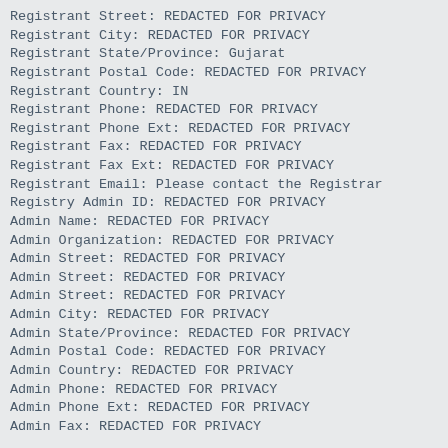Registrant Street: REDACTED FOR PRIVACY
Registrant City: REDACTED FOR PRIVACY
Registrant State/Province: Gujarat
Registrant Postal Code: REDACTED FOR PRIVACY
Registrant Country: IN
Registrant Phone: REDACTED FOR PRIVACY
Registrant Phone Ext: REDACTED FOR PRIVACY
Registrant Fax: REDACTED FOR PRIVACY
Registrant Fax Ext: REDACTED FOR PRIVACY
Registrant Email: Please contact the Registrar
Registry Admin ID: REDACTED FOR PRIVACY
Admin Name: REDACTED FOR PRIVACY
Admin Organization: REDACTED FOR PRIVACY
Admin Street: REDACTED FOR PRIVACY
Admin Street: REDACTED FOR PRIVACY
Admin Street: REDACTED FOR PRIVACY
Admin City: REDACTED FOR PRIVACY
Admin State/Province: REDACTED FOR PRIVACY
Admin Postal Code: REDACTED FOR PRIVACY
Admin Country: REDACTED FOR PRIVACY
Admin Phone: REDACTED FOR PRIVACY
Admin Phone Ext: REDACTED FOR PRIVACY
Admin Fax: REDACTED FOR PRIVACY